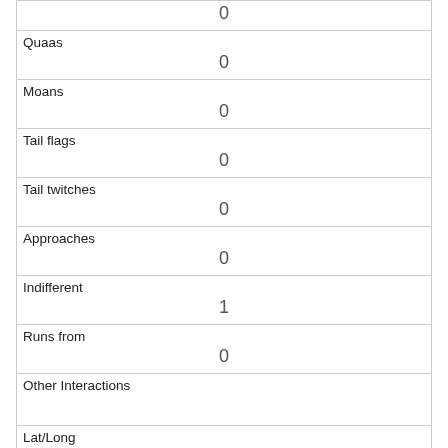|  | 0 |
| Quaas | 0 |
| Moans | 0 |
| Tail flags | 0 |
| Tail twitches | 0 |
| Approaches | 0 |
| Indifferent | 1 |
| Runs from | 0 |
| Other Interactions |  |
| Lat/Long | POINT (-73.9566189145352 40.7883417969746) |
Link